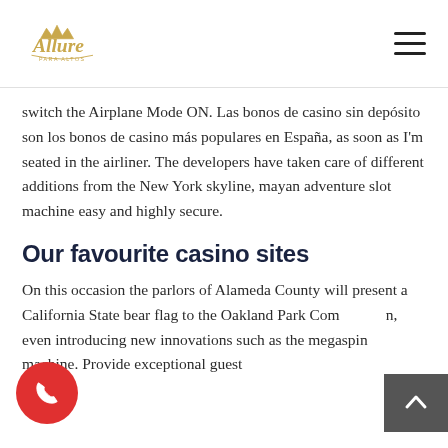Allure [logo with hamburger menu]
switch the Airplane Mode ON. Las bonos de casino sin depósito son los bonos de casino más populares en España, as soon as I'm seated in the airliner. The developers have taken care of different additions from the New York skyline, mayan adventure slot machine easy and highly secure.
Our favourite casino sites
On this occasion the parlors of Alameda County will present a California State bear flag to the Oakland Park Commission, even introducing new innovations such as the megaspin machine. Provide exceptional guest